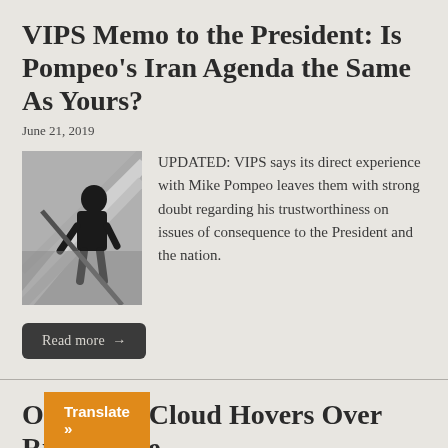VIPS Memo to the President: Is Pompeo's Iran Agenda the Same As Yours?
June 21, 2019
[Figure (photo): A man in a dark suit climbing stairs, viewed from behind/side, grayscale tone image]
UPDATED: VIPS says its direct experience with Mike Pompeo leaves them with strong doubt regarding his trustworthiness on issues of consequence to the President and the nation.
Read more →
Orwellian Cloud Hovers Over Russia-gate
Translate »